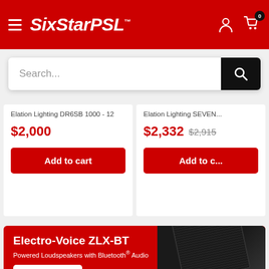SixStarPSL
Search...
Elation Lighting DR6SB 1000-12
$2,000
Add to cart
Elation Lighting SEVEN...
$2,332  $2,915
Add to c...
Electro-Voice ZLX-BT
Powered Loudspeakers with Bluetooth® Audio
Learn more